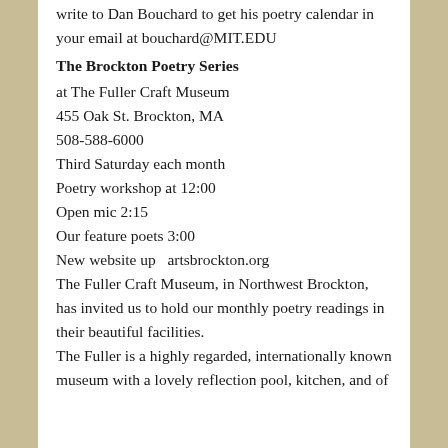write to Dan Bouchard to get his poetry calendar in your email at bouchard@MIT.EDU
The Brockton Poetry Series
at The Fuller Craft Museum
455 Oak St. Brockton, MA
508-588-6000
Third Saturday each month
Poetry workshop at 12:00
Open mic 2:15
Our feature poets 3:00
New website up  artsbrockton.org
The Fuller Craft Museum, in Northwest Brockton,
has invited us to hold our monthly poetry readings in their beautiful facilities.
The Fuller is a highly regarded, internationally known museum with a lovely reflection pool, kitchen, and of